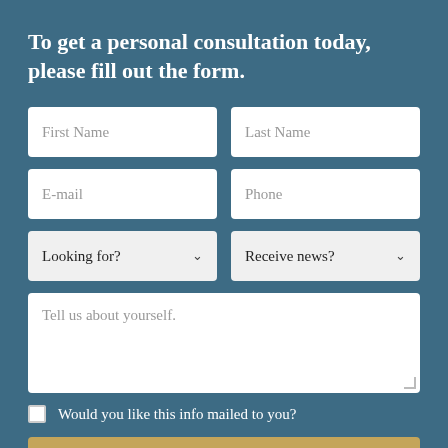To get a personal consultation today, please fill out the form.
First Name
Last Name
E-mail
Phone
Looking for?
Receive news?
Tell us about yourself.
Would you like this info mailed to you?
SEND